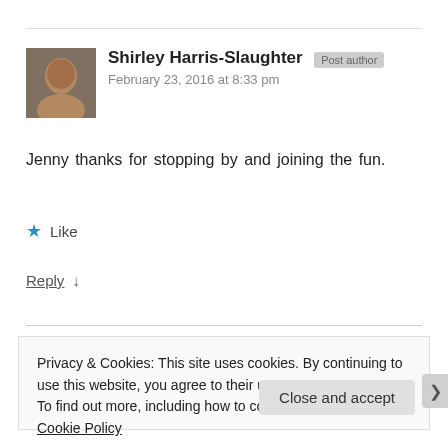[Figure (photo): Avatar photo of Shirley Harris-Slaughter, a person's face]
Shirley Harris-Slaughter Post author
February 23, 2016 at 8:33 pm
Jenny thanks for stopping by and joining the fun.
★ Like
Reply ↓
Privacy & Cookies: This site uses cookies. By continuing to use this website, you agree to their use.
To find out more, including how to control cookies, see here: Cookie Policy
Close and accept